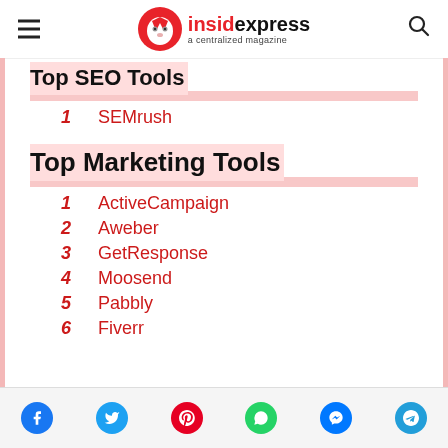insidexpress — a centralized magazine
Top SEO Tools
1   SEMrush
Top Marketing Tools
1   ActiveCampaign
2   Aweber
3   GetResponse
4   Moosend
5   Pabbly
6   Fiverr
Social share icons: Facebook, Twitter, Pinterest, WhatsApp, Messenger, Telegram